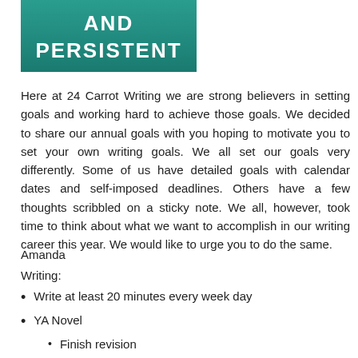[Figure (illustration): Book cover or banner image with teal/green background showing the text 'AND PERSISTENT' in white bold lettering]
Here at 24 Carrot Writing we are strong believers in setting goals and working hard to achieve those goals. We decided to share our annual goals with you hoping to motivate you to set your own writing goals. We all set our goals very differently. Some of us have detailed goals with calendar dates and self-imposed deadlines. Others have a few thoughts scribbled on a sticky note. We all, however, took time to think about what we want to accomplish in our writing career this year. We would like to urge you to do the same.
Amanda
Writing:
Write at least 20 minutes every week day
YA Novel
Finish revision